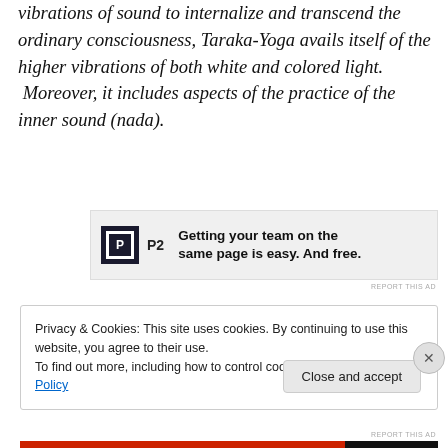vibrations of sound to internalize and transcend the ordinary consciousness, Taraka-Yoga avails itself of the higher vibrations of both white and colored light. Moreover, it includes aspects of the practice of the inner sound (nada).
[Figure (other): P2 advertisement banner with logo and text: Getting your team on the same page is easy. And free.]
Privacy & Cookies: This site uses cookies. By continuing to use this website, you agree to their use. To find out more, including how to control cookies, see here: Cookie Policy